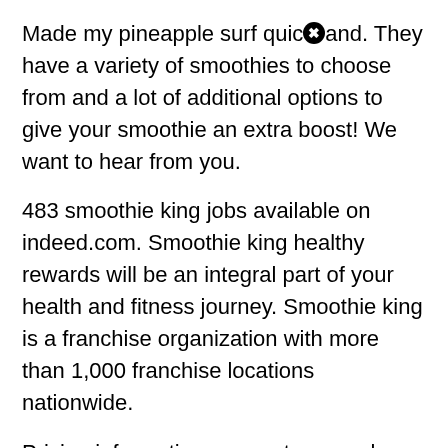Made my pineapple surf quick and. They have a variety of smoothies to choose from and a lot of additional options to give your smoothie an extra boost! We want to hear from you.
483 smoothie king jobs available on indeed.com. Smoothie king healthy rewards will be an integral part of your health and fitness journey. Smoothie king is a franchise organization with more than 1,000 franchise locations nationwide.
Pricing information, support, general help, and press information/new coverage (to guage reputation). Smoothie king is offering a free activator recovery smoothie from jan. Smoothie king is a great opportunity for people of all ages and backgrounds, to build an amazing career they can be